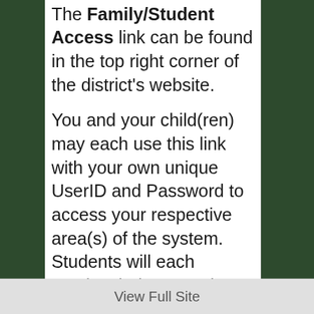The Family/Student Access link can be found in the top right corner of the district's website.
You and your child(ren) may each use this link with your own unique UserID and Password to access your respective area(s) of the system.  Students will each receive their own unique UserID and Password.  This service will allow you and your student(s) access to view their attendance, grades, food service balance, schedule, progress, assignments, emergency information, and more.
In order for you to begin using this service, you will need to obtain a UserID and Password.  By signing and returning the Family Access Request form in your child's First-Day-of-School Information
View Full Site